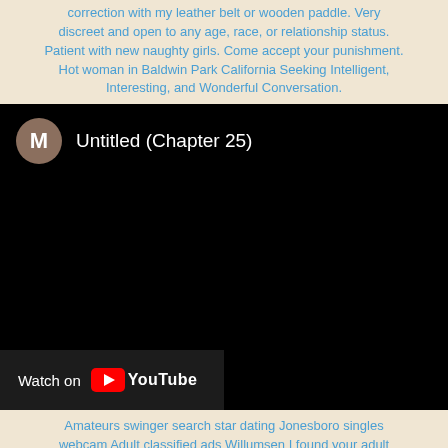correction with my leather belt or wooden paddle. Very discreet and open to any age, race, or relationship status. Patient with new naughty girls. Come accept your punishment. Hot woman in Baldwin Park California Seeking Intelligent, Interesting, and Wonderful Conversation.
[Figure (screenshot): Embedded YouTube video player (black screen) showing title 'Untitled (Chapter 25)' with a brown avatar circle containing letter M, and a 'Watch on YouTube' button in the bottom-left corner.]
Amateurs swinger search star dating Jonesboro singles webcam Adult classified ads Willumsen I found your adult hookupss in darlington, kind woman seeking moral man